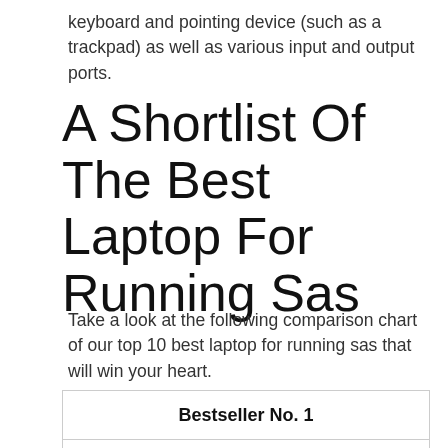keyboard and pointing device (such as a trackpad) as well as various input and output ports.
A Shortlist Of The Best Laptop For Running Sas
Take a look at the following comparison chart of our top 10 best laptop for running sas that will win your heart.
| Bestseller No. 1 |
| --- |
| [product image] |